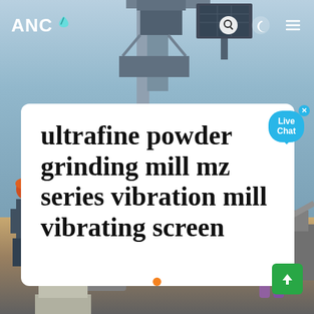ANC
[Figure (photo): Industrial construction site with heavy machinery, vibration mill equipment, workers in safety gear on left side, blue sky background]
ultrafine powder grinding mill mz series vibration mill vibrating screen
Live Chat